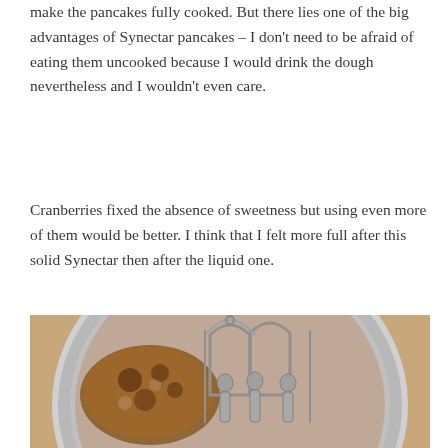make the pancakes fully cooked. But there lies one of the big advantages of Synectar pancakes – I don't need to be afraid of eating them uncooked because I would drink the dough nevertheless and I wouldn't even care.
Cranberries fixed the absence of sweetness but using even more of them would be better. I think that I felt more full after this solid Synectar then after the liquid one.
[Figure (photo): A silver decorative plate or icon featuring religious figures in relief, with a cooked pancake resting on the left side of the plate. The figures appear to be saints or apostles rendered in silver metalwork.]